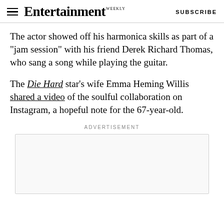Entertainment Weekly  SUBSCRIBE
The actor showed off his harmonica skills as part of a "jam session" with his friend Derek Richard Thomas, who sang a song while playing the guitar.
The Die Hard star's wife Emma Heming Willis shared a video of the soulful collaboration on Instagram, a hopeful note for the 67-year-old.
ADVERTISEMENT
[Figure (other): Advertisement placeholder box, light gray bordered rectangle]